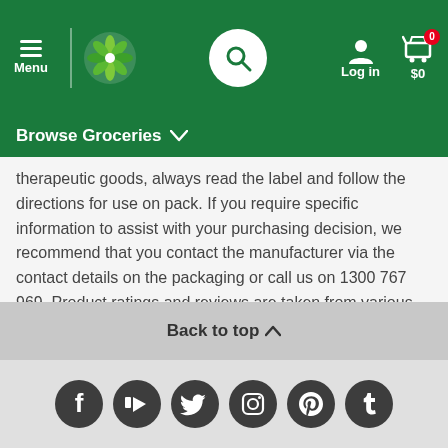Woolworths navigation header with Menu, logo, search, Log in, and cart ($0)
Browse Groceries
therapeutic goods, always read the label and follow the directions for use on pack. If you require specific information to assist with your purchasing decision, we recommend that you contact the manufacturer via the contact details on the packaging or call us on 1300 767 969. Product ratings and reviews are taken from various sources including bunch.woolworths.com.au and Bazaarvoice. Woolworths does not represent or warrant the accuracy of any statements, claims or opinions made in product ratings and reviews.
Back to top
[Figure (other): Social media icons: Facebook, YouTube, Twitter, Instagram, Pinterest, Tumblr]